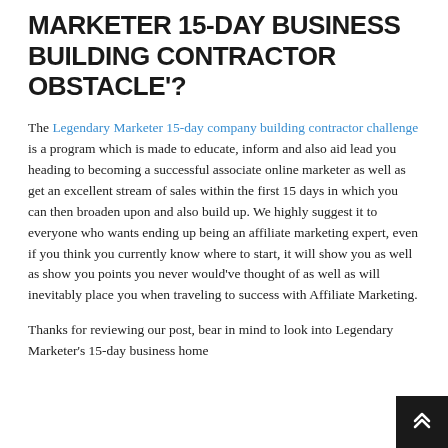MARKETER 15-DAY BUSINESS BUILDING CONTRACTOR OBSTACLE'?
The Legendary Marketer 15-day company building contractor challenge is a program which is made to educate, inform and also aid lead you heading to becoming a successful associate online marketer as well as get an excellent stream of sales within the first 15 days in which you can then broaden upon and also build up. We highly suggest it to everyone who wants ending up being an affiliate marketing expert, even if you think you currently know where to start, it will show you as well as show you points you never would've thought of as well as will inevitably place you when traveling to success with Affiliate Marketing.
Thanks for reviewing our post, bear in mind to look into Legendary Marketer's 15-day business home